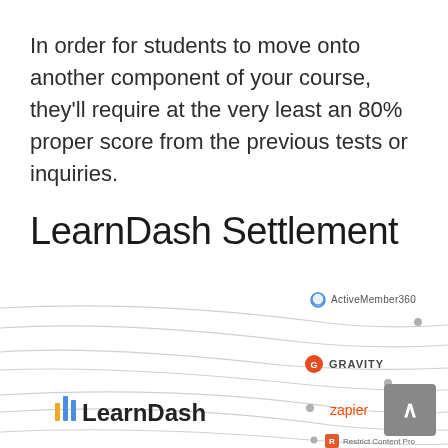In order for students to move onto another component of your course, they'll require at the very least an 80% proper score from the previous tests or inquiries.
LearnDash Settlement
[Figure (infographic): Integration diagram showing ActiveMember360, Gravity, LearnDash, Zapier, and Restrict Content Pro logos connected by flowing curved lines with dot nodes, on a white background.]